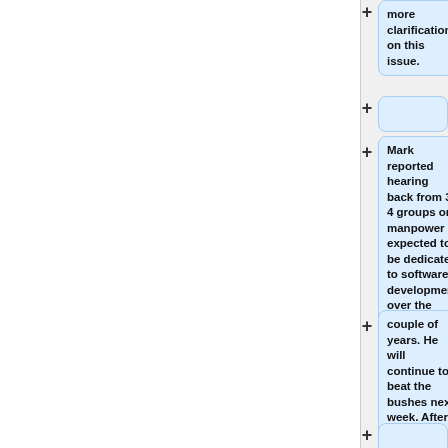more clarification on this issue.
Mark reported hearing back from 3-4 groups on manpower expected to be dedicated to software development over the next
couple of years. He will continue to beat the bushes next week. After that, he'll ask Curtis to nudge any non-conformists.
Curtis plans to